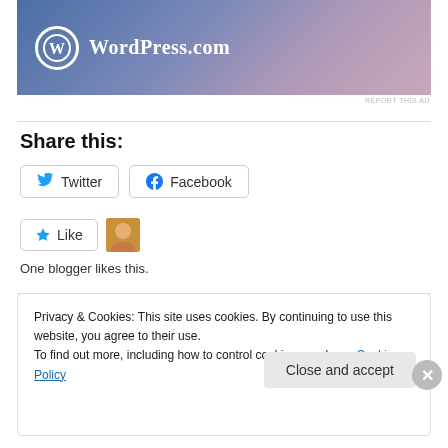[Figure (logo): WordPress.com logo banner with gradient blue-pink background, white WordPress W circle logo and WordPress.com text]
REPORT THIS AD
Share this:
Twitter  Facebook
Like  [blogger avatar]  One blogger likes this.
Privacy & Cookies: This site uses cookies. By continuing to use this website, you agree to their use.
To find out more, including how to control cookies, see here: Cookie Policy
Close and accept